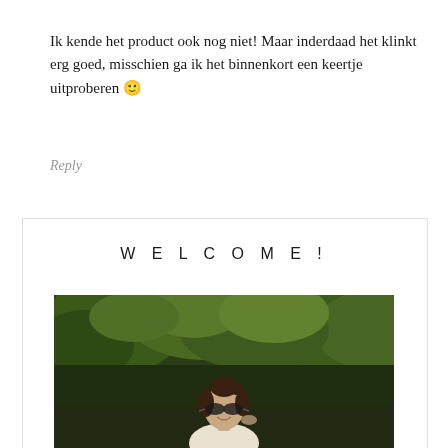[Figure (photo): Circular avatar photo of a person, partially visible at top]
Ik kende het product ook nog niet! Maar inderdaad het klinkt erg goed, misschien ga ik het binnenkort een keertje uitproberen 🙂
Reply
WELCOME!
[Figure (photo): Outdoor photo of a young woman with sunglasses and hair up in a bun, smiling, standing in front of lush green trees]